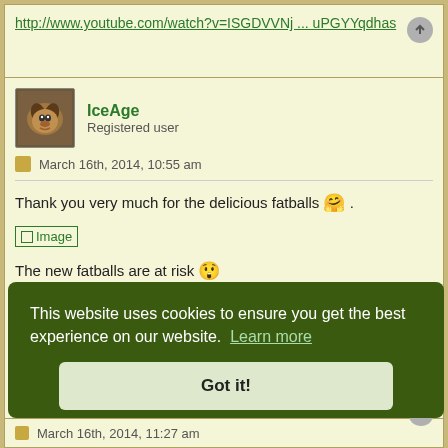http://www.youtube.com/watch?v=ISGDVVNj ... uPGYYqdhas
IceAge
Registered user
March 16th, 2014, 10:55 am
Thank you very much for the delicious fatballs 🤗 .
[Figure (other): Broken image placeholder labeled 'Image']
The new fatballs are at risk 😲
[Figure (other): Broken image placeholder labeled 'Image']
This website uses cookies to ensure you get the best experience on our website.  Learn more
Got it!
March 16th, 2014, 11:27 am